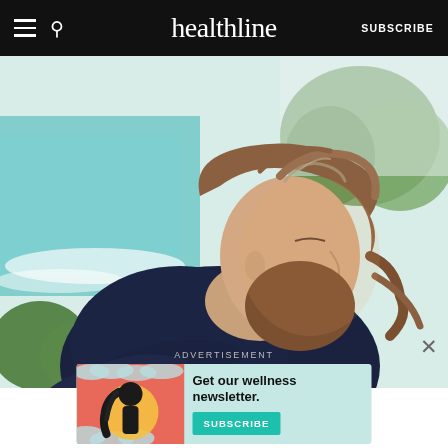healthline | SUBSCRIBE
[Figure (photo): Woman with wavy brown hair sitting outdoors in profile view, eyes closed, wearing a dark navy sweater, with a coastal/beach background featuring teal water and green trees in warm light]
ADVERTISEMENT
[Figure (infographic): Advertisement banner for Healthline wellness newsletter with teal/coral background featuring illustrated woman figure, text reading 'Get our wellness newsletter.' and a teal SUBSCRIBE button]